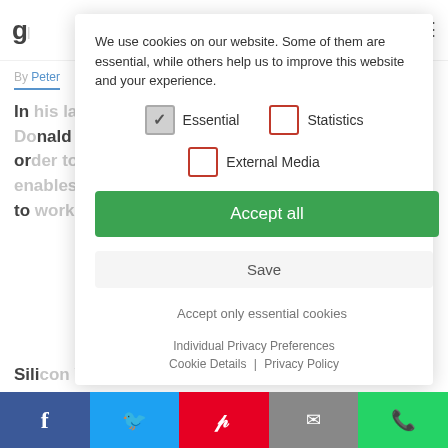g| [logo] [search icon] [hamburger menu]
By Peter [author name]
In his latest border-closing move, US President Donald Trump issued an April 18 executive order to review the H1-B visa program, which enables educated migrants with specific skills to work temporarily in the US.
Silicon Valley workers criticized Trump's move, saying that there is a shortage of qualified Americans working in the industry. US
[Figure (screenshot): Cookie consent modal overlay with options for Essential (checked), Statistics (unchecked), External Media (unchecked), Accept all button (green), Save button, Accept only essential cookies link, Individual Privacy Preferences link, Cookie Details and Privacy Policy links]
Social sharing bar: Facebook, Twitter, Pinterest, Email, WhatsApp